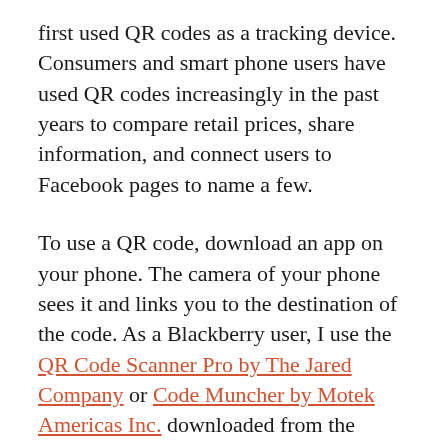first used QR codes as a tracking device. Consumers and smart phone users have used QR codes increasingly in the past years to compare retail prices, share information, and connect users to Facebook pages to name a few.
To use a QR code, download an app on your phone. The camera of your phone sees it and links you to the destination of the code. As a Blackberry user, I use the QR Code Scanner Pro by The Jared Company or Code Muncher by Motek Americas Inc. downloaded from the Blackberry App World. Iphone users can search the app store for QR Reader for iPhone by TapMedia Ltd. or RedLaser – Barcode Scanner